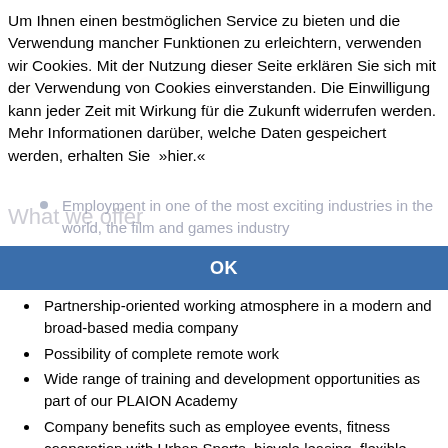Um Ihnen einen bestmöglichen Service zu bieten und die Verwendung mancher Funktionen zu erleichtern, verwenden wir Cookies. Mit der Nutzung dieser Seite erklären Sie sich mit der Verwendung von Cookies einverstanden. Die Einwilligung kann jeder Zeit mit Wirkung für die Zukunft widerrufen werden. Mehr Informationen darüber, welche Daten gespeichert werden, erhalten Sie »hier.«
OK
Employment in one of the most exciting industries in the world, the film and games industry
Partnership-oriented working atmosphere in a modern and broad-based media company
Possibility of complete remote work
Wide range of training and development opportunities as part of our PLAION Academy
Company benefits such as employee events, fitness cooperation with Urban Sports, bicycle leasing, flexible working hours, 30 days vacation,